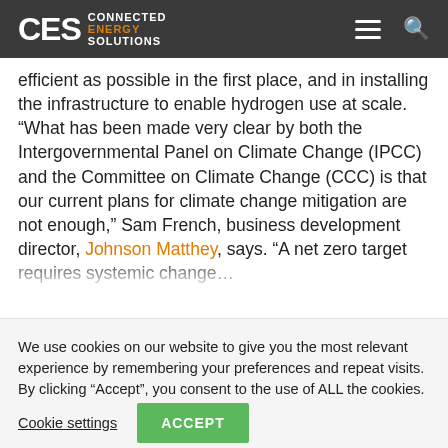CES CONNECTED ENERGY SOLUTIONS
efficient as possible in the first place, and in installing the infrastructure to enable hydrogen use at scale. “What has been made very clear by both the Intergovernmental Panel on Climate Change (IPCC) and the Committee on Climate Change (CCC) is that our current plans for climate change mitigation are not enough,” Sam French, business development director, Johnson Matthey, says. “A net zero target requires systemic change…
We use cookies on our website to give you the most relevant experience by remembering your preferences and repeat visits. By clicking “Accept”, you consent to the use of ALL the cookies.
Cookie settings
ACCEPT